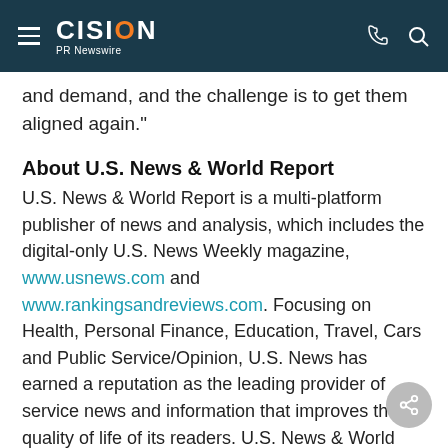CISION PR Newswire
and demand, and the challenge is to get them aligned again."
About U.S. News & World Report
U.S. News & World Report is a multi-platform publisher of news and analysis, which includes the digital-only U.S. News Weekly magazine, www.usnews.com and www.rankingsandreviews.com. Focusing on Health, Personal Finance, Education, Travel, Cars and Public Service/Opinion, U.S. News has earned a reputation as the leading provider of service news and information that improves the quality of life of its readers. U.S. News & World Report's signature franchise includes